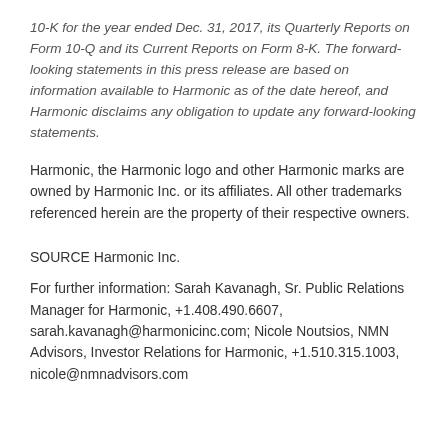10-K for the year ended Dec. 31, 2017, its Quarterly Reports on Form 10-Q and its Current Reports on Form 8-K. The forward-looking statements in this press release are based on information available to Harmonic as of the date hereof, and Harmonic disclaims any obligation to update any forward-looking statements.
Harmonic, the Harmonic logo and other Harmonic marks are owned by Harmonic Inc. or its affiliates. All other trademarks referenced herein are the property of their respective owners.
SOURCE Harmonic Inc.
For further information: Sarah Kavanagh, Sr. Public Relations Manager for Harmonic, +1.408.490.6607, sarah.kavanagh@harmonicinc.com; Nicole Noutsios, NMN Advisors, Investor Relations for Harmonic, +1.510.315.1003, nicole@nmnadvisors.com